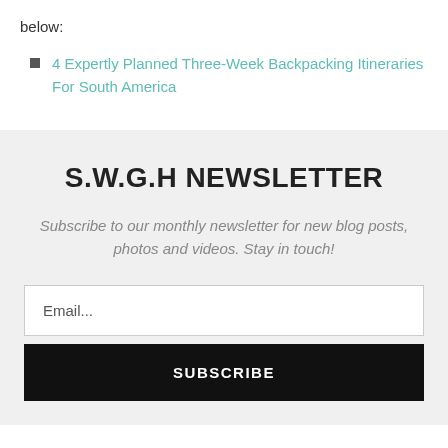below:
4 Expertly Planned Three-Week Backpacking Itineraries For South America
S.W.G.H NEWSLETTER
Subscribe to our monthly newsletter for new blog posts, photos and videos. Stay in touch!
Email...
SUBSCRIBE